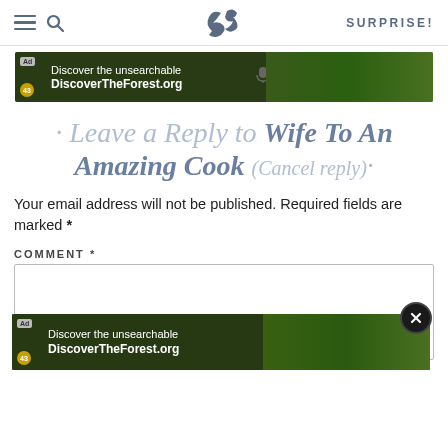SK SURPRISE!
[Figure (screenshot): Advertisement banner for DiscoverTheForest.org — 'Discover the unsearchable' with forest background image]
· Leave a Reply to Wife To An Amazing Cook (Cancel reply)·
Your email address will not be published. Required fields are marked *
COMMENT *
[Figure (screenshot): Second advertisement banner for DiscoverTheForest.org — 'Discover the unsearchable' with forest background image and close button]